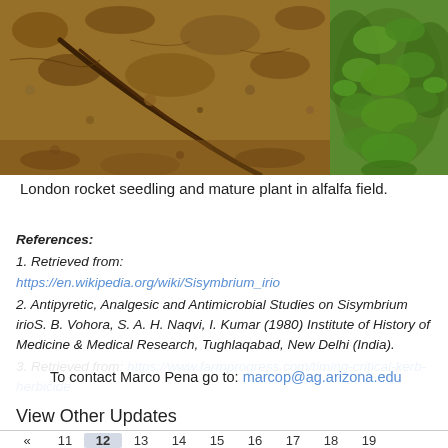[Figure (photo): London rocket seedling in soil (left) and mature plant in alfalfa field (right)]
London rocket seedling and mature plant in alfalfa field.
References:
1. Retrieved from: https://en.wikipedia.org/wiki/Sisymbrium_irio
2. Antipyretic, Analgesic and Antimicrobial Studies on Sisymbrium irioS. B. Vohora, S. A. H. Naqvi, I. Kumar (1980) Institute of History of Medicine & Medical Research, Tughlaqabad, New Delhi (India).
3. Retrieved from: https://www.farmprogress.com/timing-critical-kerb-herbicide
To contact Marco Pena go to: marcop@ag.arizona.edu
View Other Updates
« 11 12 13 14 15 16 17 18 19